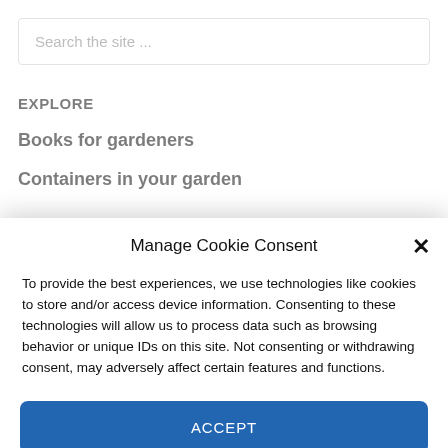Search the site ...
EXPLORE
Books for gardeners
Containers in your garden
Manage Cookie Consent
To provide the best experiences, we use technologies like cookies to store and/or access device information. Consenting to these technologies will allow us to process data such as browsing behavior or unique IDs on this site. Not consenting or withdrawing consent, may adversely affect certain features and functions.
ACCEPT
Cookie Policy   Privacy policy